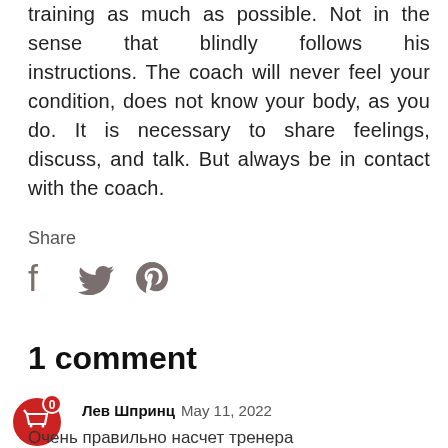training as much as possible. Not in the sense that blindly follows his instructions. The coach will never feel your condition, does not know your body, as you do. It is necessary to share feelings, discuss, and talk. But always be in contact with the coach.
Share
[Figure (infographic): Social share icons: Facebook (f), Twitter (bird), Pinterest (P)]
1 comment
[Figure (infographic): Red circular shopping cart button with badge showing 0]
Лев Шпринц May 11, 2022
Очень правильно насчет тренера